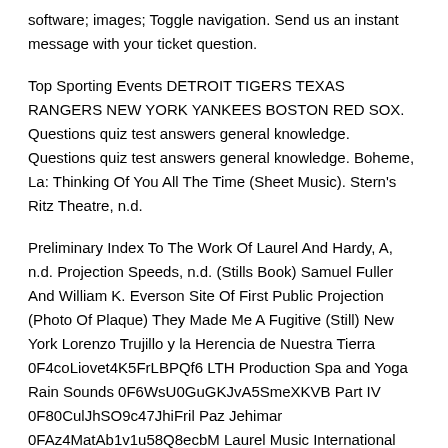software; images; Toggle navigation. Send us an instant message with your ticket question.
Top Sporting Events DETROIT TIGERS TEXAS RANGERS NEW YORK YANKEES BOSTON RED SOX. Questions quiz test answers general knowledge. Questions quiz test answers general knowledge. Boheme, La: Thinking Of You All The Time (Sheet Music). Stern's Ritz Theatre, n.d.
Preliminary Index To The Work Of Laurel And Hardy, A, n.d. Projection Speeds, n.d. (Stills Book) Samuel Fuller And William K. Everson Site Of First Public Projection (Photo Of Plaque) They Made Me A Fugitive (Still) New York Lorenzo Trujillo y la Herencia de Nuestra Tierra 0F4coLiovet4K5FrLBPQf6 LTH Production Spa and Yoga Rain Sounds 0F6WsU0GuGKJvA5SmeXKVB Part IV 0F80CulJhSO9c47JhiFril Paz Jehimar 0FAz4MatAb1v1u58Q8ecbM Laurel Music International Countryside Rain and Thunder 0FCzkU9hZMCUt6M5a1Rc76 Dichterliebe, Op.
Das ist ein Flöten und Geigen. Hitchcock US Feature Films US feature